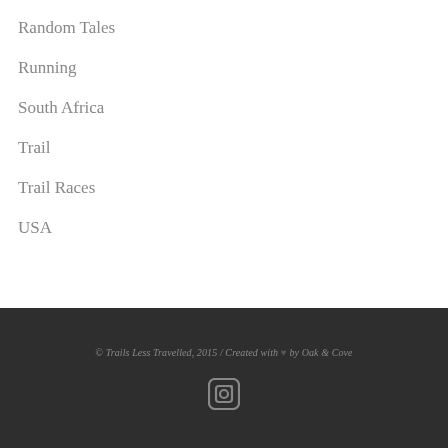Random Tales
Running
South Africa
Trail
Trail Races
USA
© Trails Less Travelled, 2015 / Created with ♥ by Oak & Cove